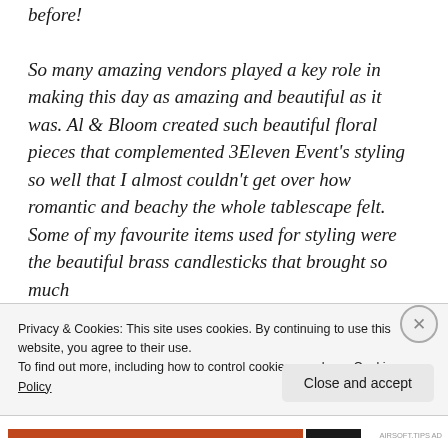before!
So many amazing vendors played a key role in making this day as amazing and beautiful as it was. Al & Bloom created such beautiful floral pieces that complemented 3Eleven Event's styling so well that I almost couldn't get over how romantic and beachy the whole tablescape felt. Some of my favourite items used for styling were the beautiful brass candlesticks that brought so much
Privacy & Cookies: This site uses cookies. By continuing to use this website, you agree to their use.
To find out more, including how to control cookies, see here: Cookie Policy
Close and accept